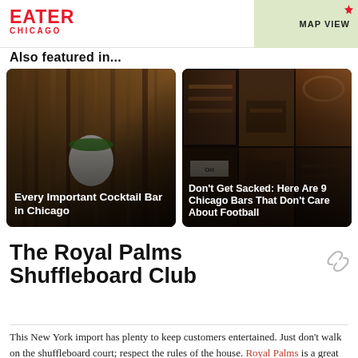EATER CHICAGO
MAP VIEW
Also featured in...
[Figure (photo): Left card: cocktail bar photo with green-rimmed drink, title 'Every Important Cocktail Bar in Chicago']
[Figure (photo): Right card: 2x3 grid of bar interior photos, title 'Don't Get Sacked: Here Are 9 Chicago Bars That Don't Care About Football']
The Royal Palms Shuffleboard Club
This New York import has plenty to keep customers entertained. Just don't walk on the shuffleboard court; respect the rules of the house. Royal Palms is a great place for groups in Bucktown.